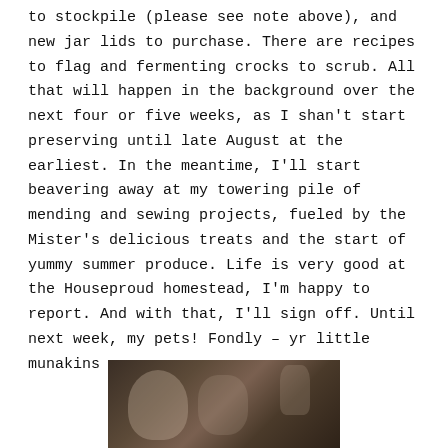to stockpile (please see note above), and new jar lids to purchase. There are recipes to flag and fermenting crocks to scrub. All that will happen in the background over the next four or five weeks, as I shan't start preserving until late August at the earliest. In the meantime, I'll start beavering away at my towering pile of mending and sewing projects, fueled by the Mister's delicious treats and the start of yummy summer produce. Life is very good at the Houseproud homestead, I'm happy to report. And with that, I'll sign off. Until next week, my pets! Fondly – yr little munakins
[Figure (photo): A dark photograph showing what appears to be kitchen or pantry items, partially visible at the bottom of the page.]